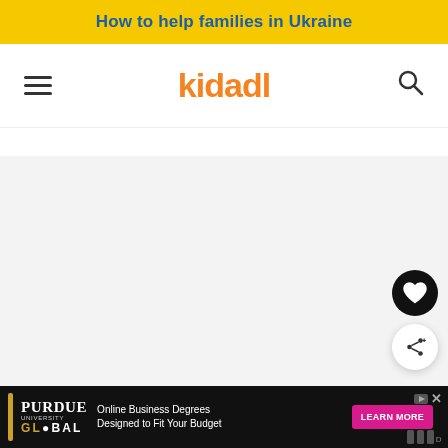How to help families in Ukraine
[Figure (logo): Kidadl logo with hamburger menu and search icon navigation bar]
[Figure (other): Light grey content area placeholder with heart (favorite) and share floating action buttons on the right]
[Figure (other): Advertisement banner: Purdue University Global - Online Business Degrees Designed to Fit Your Budget - LEARN MORE button]